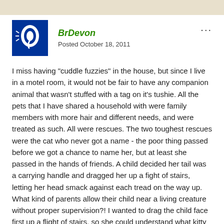BrDevon
Posted October 18, 2011
I miss having "cuddle fuzzies" in the house, but since I live in a motel room, it would not be fair to have any companion animal that wasn't stuffed with a tag on it's tushie. All the pets that I have shared a household with were family members with more hair and different needs, and were treated as such. All were rescues. The two toughest rescues were the cat who never got a name - the poor thing passed before we got a chance to name her, but at least she passed in the hands of friends. A child decided her tail was a carrying handle and dragged her up a fight of stairs, letting her head smack against each tread on the way up. What kind of parents allow their child near a living creature without proper supervision?! I wanted to drag the child face first up a flight of stairs, so she could understand what kitty felt. My other big rescue was a dog that was in training to be a guide dog, and then was discovered to have mental issues. The dog would literally run in circles and scream in an octave that